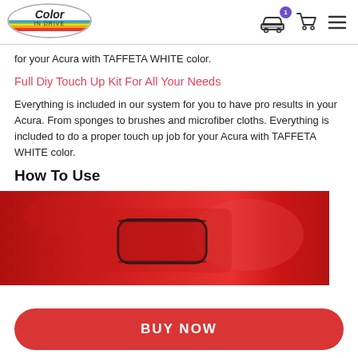[Figure (logo): Color In Drive logo — oval shaped emblem with rainbow stripe and stylized text]
[Figure (other): Navigation icons: car silhouette with purple badge showing '1', shopping cart, and hamburger menu lines]
for your Acura with TAFFETA WHITE color.
Full Diy Touch Up Kit For All Your Needs
Everything is included in our system for you to have pro results in your Acura. From sponges to brushes and microfiber cloths. Everything is included to do a proper touch up job for your Acura with TAFFETA WHITE color.
How To Use
[Figure (photo): Close-up photo of a red car body panel showing a recessed door handle area with a diamond-shaped cutout]
BUY NOW